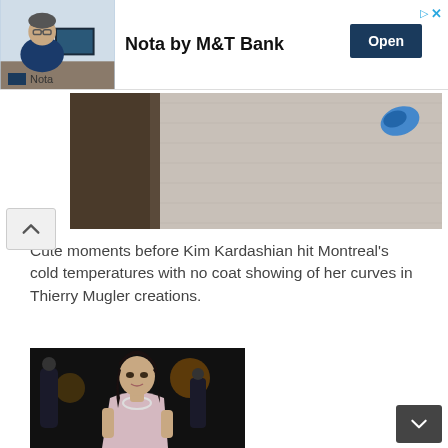[Figure (other): Advertisement banner: Nota by M&T Bank. Shows a man in blue shirt at desk. 'Open' button on right. Nota logo at bottom left.]
[Figure (photo): Partial photo showing fabric/clothing texture, cropped at top of page below ad]
Cute moments before Kim Kardashian hit Montreal's cold temperatures with no coat showing of her curves in Thierry Mugler creations.
[Figure (photo): Photo of Kim Kardashian wearing a one-shoulder dress, dark hair up, at a nighttime event with people in background]